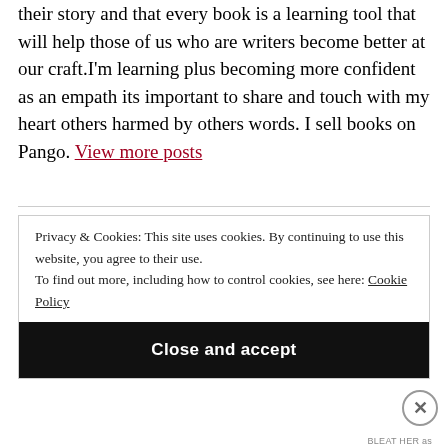their story and that every book is a learning tool that will help those of us who are writers become better at our craft.I'm learning plus becoming more confident as an empath its important to share and touch with my heart others harmed by others words. I sell books on Pango. View more posts
Privacy & Cookies: This site uses cookies. By continuing to use this website, you agree to their use. To find out more, including how to control cookies, see here: Cookie Policy
Close and accept
BLEAT HER as